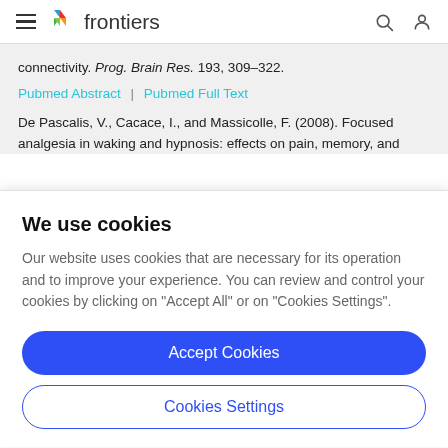frontiers
connectivity. Prog. Brain Res. 193, 309–322.
Pubmed Abstract | Pubmed Full Text
De Pascalis, V., Cacace, I., and Massicolle, F. (2008). Focused analgesia in waking and hypnosis: effects on pain, memory, and
We use cookies
Our website uses cookies that are necessary for its operation and to improve your experience. You can review and control your cookies by clicking on "Accept All" or on "Cookies Settings".
Accept Cookies
Cookies Settings